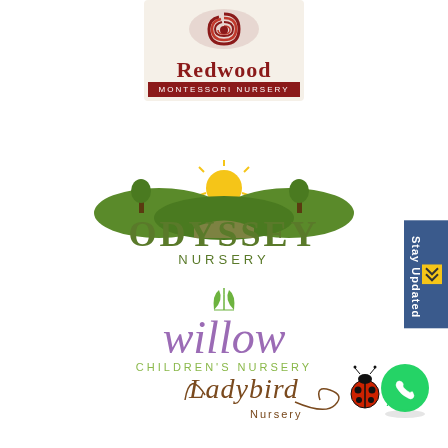[Figure (logo): Redwood Montessori Nursery logo with red swirl and dark red text on beige background]
[Figure (logo): Odyssey Nursery logo with green landscape scene, sun, trees, and green bold text]
[Figure (logo): Willow Children's Nursery logo with purple italic willow text and green leaf accents]
[Figure (logo): Ladybird Nursery logo with brown cursive text and red ladybird illustration]
[Figure (illustration): Stay Updated sidebar tab in blue on right edge]
[Figure (illustration): WhatsApp green circle icon in bottom right]